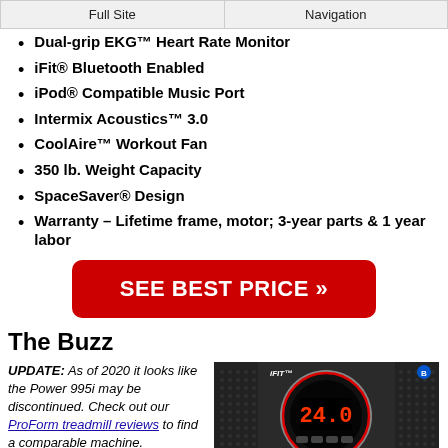Full Site | Navigation
Dual-grip EKG™ Heart Rate Monitor
iFit® Bluetooth Enabled
iPod® Compatible Music Port
Intermix Acoustics™ 3.0
CoolAire™ Workout Fan
350 lb. Weight Capacity
SpaceSaver® Design
Warranty – Lifetime frame, motor; 3-year parts & 1 year labor
[Figure (other): SEE BEST PRICE button (red rounded rectangle with white bold text)]
The Buzz
UPDATE: As of 2020 it looks like the Power 995i may be discontinued. Check out our ProForm treadmill reviews to find a comparable machine.
[Figure (photo): Close-up photo of a treadmill console showing iFIT logo, Bluetooth icon, and a circular display reading 24.0]